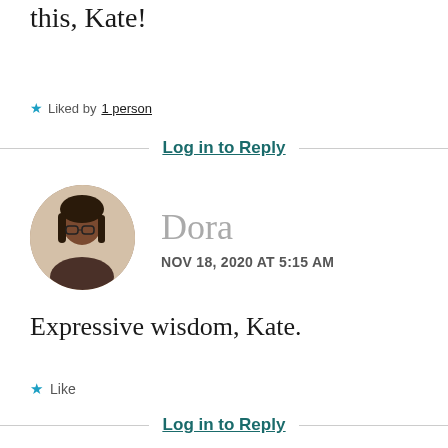this, Kate!
★ Liked by 1 person
Log in to Reply
[Figure (photo): Circular avatar photo of Dora, a woman with glasses and dark hair]
Dora
NOV 18, 2020 AT 5:15 AM
Expressive wisdom, Kate.
★ Like
Log in to Reply